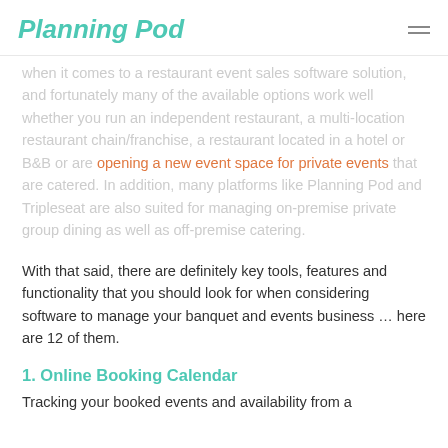Planning Pod
when it comes to a restaurant event sales software solution, and fortunately many of the available options work well whether you run an independent restaurant, a multi-location restaurant chain/franchise, a restaurant located in a hotel or B&B or are opening a new event space for private events that are catered. In addition, many platforms like Planning Pod and Tripleseat are also suited for managing on-premise private group dining as well as off-premise catering.
With that said, there are definitely key tools, features and functionality that you should look for when considering software to manage your banquet and events business ... here are 12 of them.
1. Online Booking Calendar
Tracking your booked events and availability from a